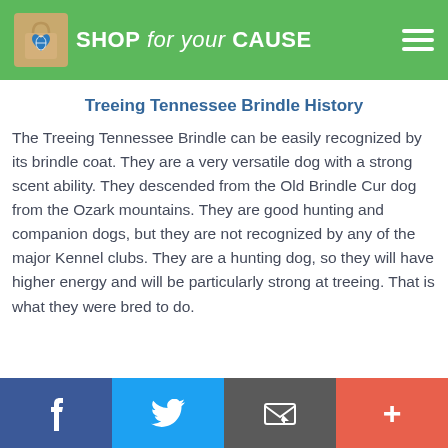SHOP for your CAUSE
Treeing Tennessee Brindle History
The Treeing Tennessee Brindle can be easily recognized by its brindle coat. They are a very versatile dog with a strong scent ability. They descended from the Old Brindle Cur dog from the Ozark mountains. They are good hunting and companion dogs, but they are not recognized by any of the major Kennel clubs. They are a hunting dog, so they will have higher energy and will be particularly strong at treeing. That is what they were bred to do.
f  [Twitter]  [Email]  +